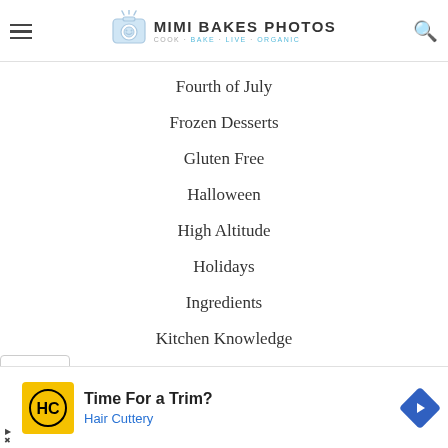MIMI BAKES PHOTOS — COOK · BAKE · LIVE · ORGANIC
Fourth of July
Frozen Desserts
Gluten Free
Halloween
High Altitude
Holidays
Ingredients
Kitchen Knowledge
Lifestyle
[Figure (screenshot): Advertisement banner: Time For a Trim? Hair Cuttery]
Time For a Trim? Hair Cuttery